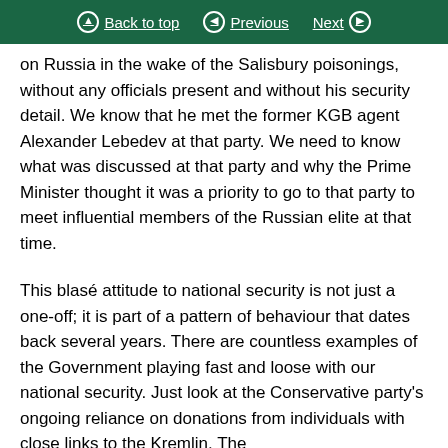Back to top | Previous | Next
on Russia in the wake of the Salisbury poisonings, without any officials present and without his security detail. We know that he met the former KGB agent Alexander Lebedev at that party. We need to know what was discussed at that party and why the Prime Minister thought it was a priority to go to that party to meet influential members of the Russian elite at that time.
This blasé attitude to national security is not just a one-off; it is part of a pattern of behaviour that dates back several years. There are countless examples of the Government playing fast and loose with our national security. Just look at the Conservative party's ongoing reliance on donations from individuals with close links to the Kremlin. The